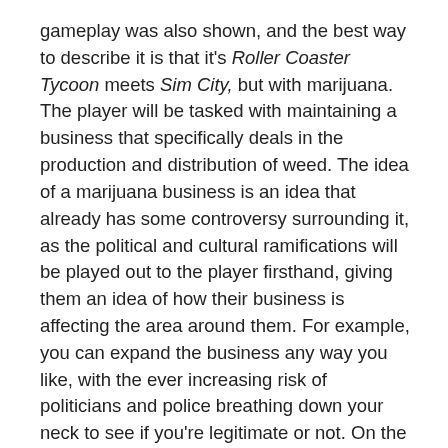gameplay was also shown, and the best way to describe it is that it's Roller Coaster Tycoon meets Sim City, but with marijuana. The player will be tasked with maintaining a business that specifically deals in the production and distribution of weed. The idea of a marijuana business is an idea that already has some controversy surrounding it, as the political and cultural ramifications will be played out to the player firsthand, giving them an idea of how their business is affecting the area around them. For example, you can expand the business any way you like, with the ever increasing risk of politicians and police breathing down your neck to see if you're legitimate or not. On the other hand, you can actually choose to bribe officials with weed and favors to get them to turn a blind eye from your operations.
In addition, the player will also have to micromanage the business, such as keeping costs to a minimum, making sure profits are above average, and hiring workers to help run it. This includes what type of marijuana plants to grow, how much of it